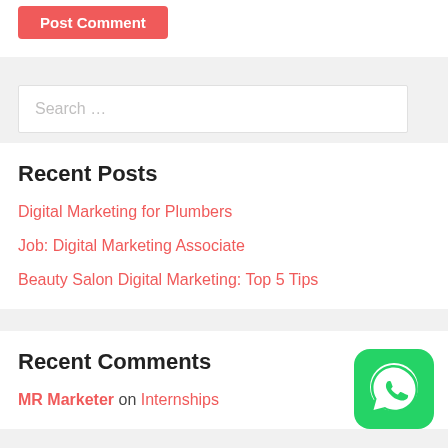Post Comment
Search …
Recent Posts
Digital Marketing for Plumbers
Job: Digital Marketing Associate
Beauty Salon Digital Marketing: Top 5 Tips
Recent Comments
MR Marketer on Internships
[Figure (logo): WhatsApp green icon with speech bubble and phone symbol]